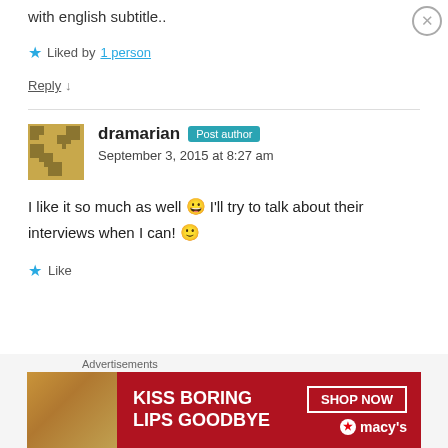with english subtitle..
★ Liked by 1 person
Reply ↓
dramarian Post author
September 3, 2015 at 8:27 am
I like it so much as well 😀 I'll try to talk about their interviews when I can! 🙂
★ Like
[Figure (screenshot): Macy's advertisement banner: 'KISS BORING LIPS GOODBYE' with 'SHOP NOW' button and Macy's star logo on dark red background]